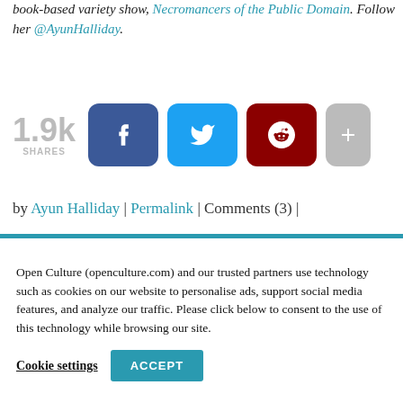book-based variety show, Necromancers of the Public Domain. Follow her @AyunHalliday.
[Figure (infographic): Social share count showing 1.9k SHARES with Facebook, Twitter, Reddit, and more (+) share buttons]
by Ayun Halliday | Permalink | Comments (3) |
Open Culture (openculture.com) and our trusted partners use technology such as cookies on our website to personalise ads, support social media features, and analyze our traffic. Please click below to consent to the use of this technology while browsing our site.
Cookie settings   ACCEPT